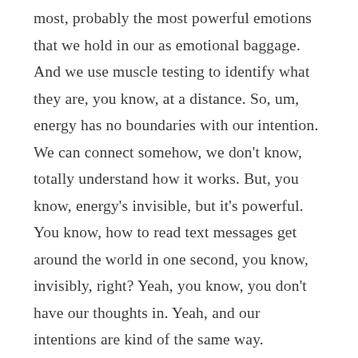most, probably the most powerful emotions that we hold in our as emotional baggage. And we use muscle testing to identify what they are, you know, at a distance. So, um, energy has no boundaries with our intention. We can connect somehow, we don't know, totally understand how it works. But, you know, energy's invisible, but it's powerful. You know, how to read text messages get around the world in one second, you know, invisibly, right? Yeah, you know, you don't have our thoughts in. Yeah, and our intentions are kind of the same way. Somehow this works, we don't totally understand how it works. We just know